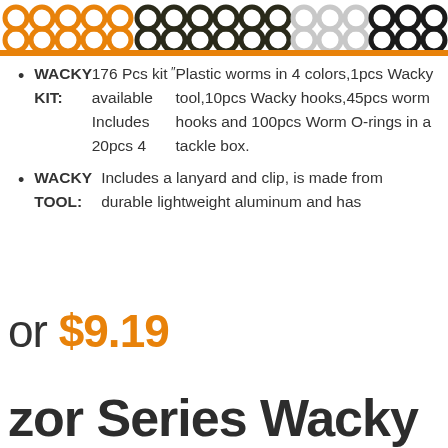[Figure (illustration): Rows of O-rings in four colors: orange, dark green/black, light gray/white, and black]
WACKY KIT:176 Pcs kit available Includes 20pcs 4″ Plastic worms in 4 colors,1pcs Wacky tool,10pcs Wacky hooks,45pcs worm hooks and 100pcs Worm O-rings in a tackle box.
WACKY TOOL: Includes a lanyard and clip, is made from durable lightweight aluminum and has
or $9.19
zor Series Wacky